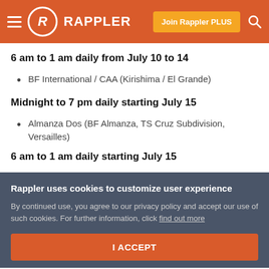Rappler
6 am to 1 am daily from July 10 to 14
BF International / CAA (Kirishima / El Grande)
Midnight to 7 pm daily starting July 15
Almanza Dos (BF Almanza, TS Cruz Subdivision, Versailles)
6 am to 1 am daily starting July 15
Rappler uses cookies to customize user experience
By continued use, you agree to our privacy policy and accept our use of such cookies. For further information, click find out more
I ACCEPT